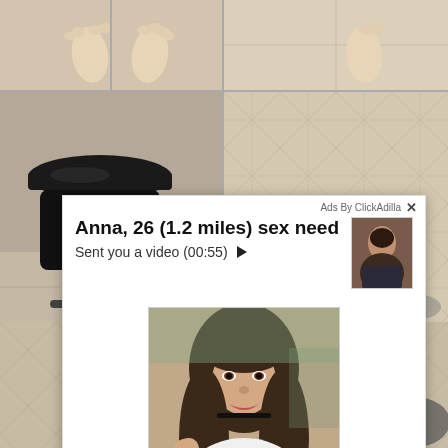[Figure (photo): Background photo collage: top row shows two panels with bare feet on tiled floor, middle left shows a black bar stool/chair, middle right shows tiled floor, bottom shows floor tiles. An advertisement popup overlay appears in the lower portion.]
Ads By ClickAdilla
Anna, 26 (1.2 miles) sex need
Sent you a video (00:55) ▶
[Figure (photo): Thumbnail photo of a young woman with dark hair, used as profile picture in the ad]
[Figure (photo): Main ad image: young woman with long dark hair taking a selfie in a car, wearing a white top]
2md
bit.ly/1wmhosiJms=0001@.RN?1e?&AMMDPMilme.MiM